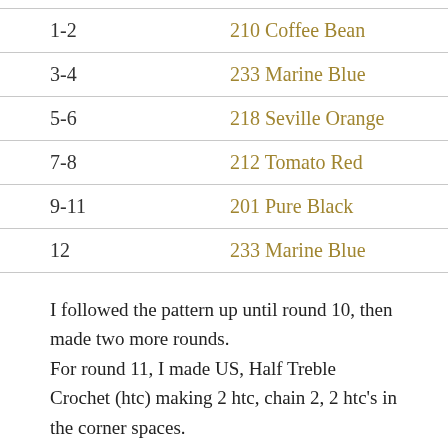| Round | Color |
| --- | --- |
| 1-2 | 210 Coffee Bean |
| 3-4 | 233 Marine Blue |
| 5-6 | 218 Seville Orange |
| 7-8 | 212 Tomato Red |
| 9-11 | 201 Pure Black |
| 12 | 233 Marine Blue |
I followed the pattern up until round 10, then made two more rounds.
For round 11, I made US, Half Treble Crochet (htc) making 2 htc, chain 2, 2 htc's in the corner spaces.
For the final round, round 12, I made, Back Post Half Double Crochet's (Bphdc) across,